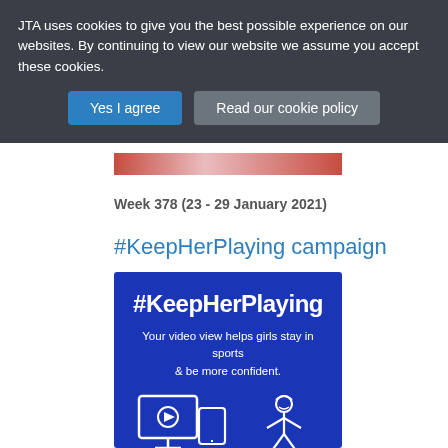JTA uses cookies to give you the best possible experience on our websites. By continuing to view our website we assume you accept these cookies.
Yes I agree
Read our cookie policy
[Figure (photo): Partial image of people in red, cropped at top]
Week 378 (23 - 29 January 2021)
#KeepHerPlaying campaign
[Figure (infographic): Blue banner with white text reading #KeepHerPlaying and 'Your video view helps girls stay in sports & be more confident.' with icons of a monitor/tablet and a girl athlete.]